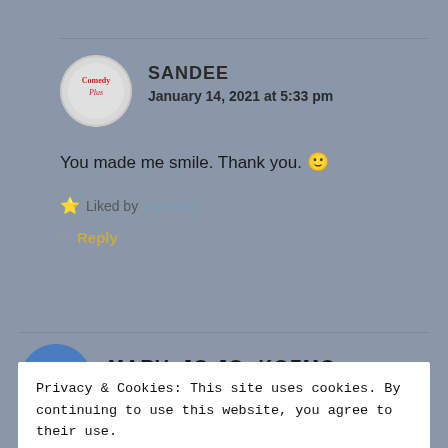SANDEE
January 14, 2021 at 5:33 pm
You made me smile. Thank you. 🙂
⭐ Liked by 1 person
Reply
MARV, JO JO, KOZMO, CINNAMON
Privacy & Cookies: This site uses cookies. By continuing to use this website, you agree to their use.
To find out more, including how to control cookies, see here: Cookie Policy
Close and accept
want to go! have a wonderfully Happy Day!